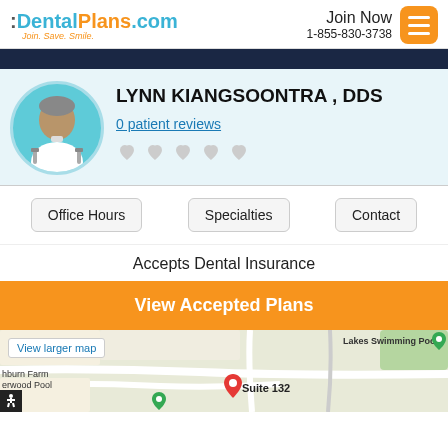:DentalPlans.com Join. Save. Smile. Join Now 1-855-830-3738
[Figure (screenshot): Doctor avatar illustration in teal circle]
LYNN KIANGSOONTRA , DDS
0 patient reviews
[Figure (other): Five heart/star rating icons in light gray]
Office Hours
Specialties
Contact
Accepts Dental Insurance
View Accepted Plans
[Figure (map): Google Maps screenshot showing location with red pin labeled Suite 132, green pins for nearby locations, Lakes Swimming Pool label, View larger map link, Ashburn Farm Sherwood Pool labels]